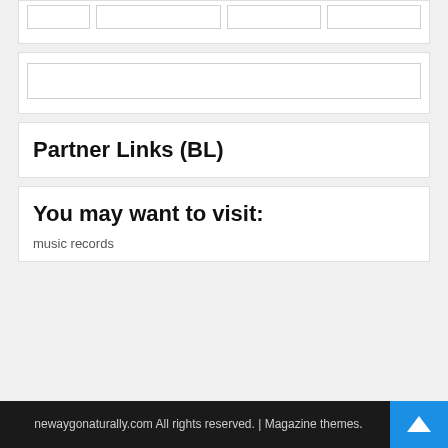[Figure (screenshot): Top section with white background containing a row of four empty placeholder boxes with light borders]
[Figure (screenshot): Middle section with white background containing a wide empty input/search box]
Partner Links (BL)
You may want to visit:
music records
newaygonaturally.com All rights reserved. | Magazine themes.